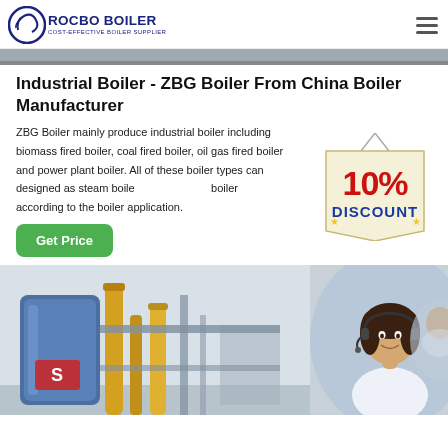[Figure (logo): ROCBO BOILER logo with circular icon and text COST-EFFECTIVE BOILER SUPPLIER]
[Figure (photo): Partial top image bar showing industrial scene]
Industrial Boiler - ZBG Boiler From China Boiler Manufacturer
ZBG Boiler mainly produce industrial boiler including biomass fired boiler, coal fired boiler, oil gas fired boiler and power plant boiler. All of these boiler types can designed as steam boiler according to the boiler application.
[Figure (illustration): 10% DISCOUNT badge/stamp overlay on top right of text area]
[Figure (photo): Green Get Price button]
[Figure (photo): Bottom section showing industrial boiler equipment on left and female customer service agent with headset on right]